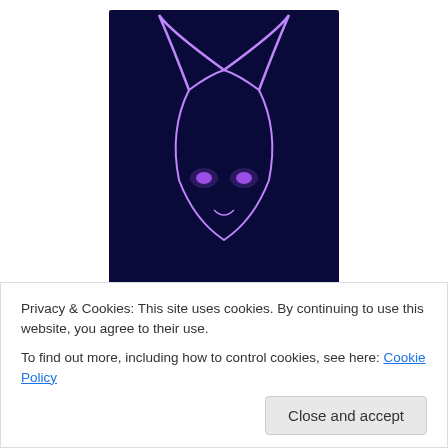[Figure (illustration): Dark blue background with a glowing purple neon Taurus bull head illustration, with glowing eyes and curved horns, and the text 'TAURUS' at the bottom in white letters]
Taurus
April 20 – May 20
You don't lack in the power of speech. You lack in the power of conversation
Privacy & Cookies: This site uses cookies. By continuing to use this website, you agree to their use.
To find out more, including how to control cookies, see here: Cookie Policy